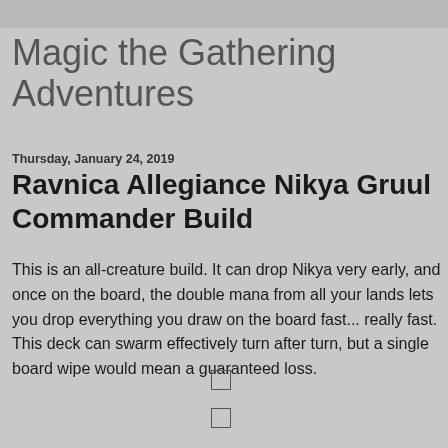Magic the Gathering Adventures
Thursday, January 24, 2019
Ravnica Allegiance Nikya Gruul Commander Build
This is an all-creature build. It can drop Nikya very early, and once on the board, the double mana from all your lands lets you drop everything you draw on the board fast... really fast. This deck can swarm effectively turn after turn, but a single board wipe would mean a guaranteed loss.
[Figure (other): Empty checkbox 1]
[Figure (other): Empty checkbox 2]